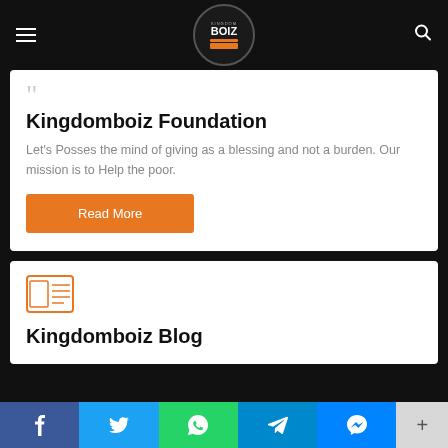Kingdomboiz logo header with hamburger menu and search icon
Kingdomboiz Foundation
Let's Posses the mind of giving as a blessing and not a burden. Our mission is to Help the poor.
Read More
Kingdomboiz Blog
Social share bar: Facebook, Twitter, WhatsApp, Telegram, Messenger, +